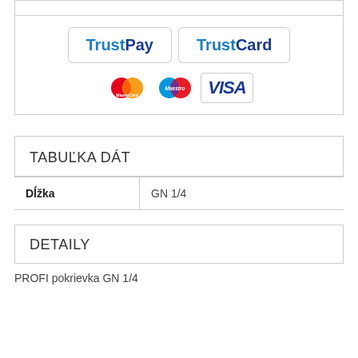[Figure (logo): TrustPay and TrustCard logos with MasterCard, Maestro, and VISA card logos below]
TABUĽKA DÁT
| Dĺžka | GN 1/4 |
| --- | --- |
| Dĺžka | GN 1/4 |
DETAILY
PROFI pokrievka GN 1/4